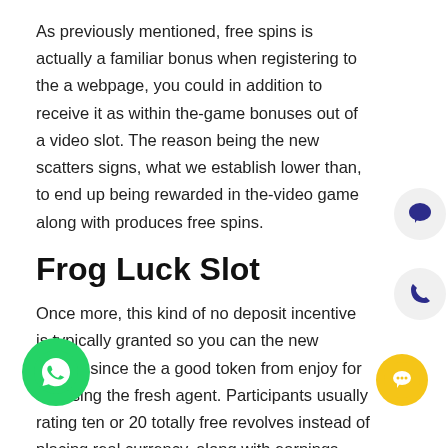As previously mentioned, free spins is actually a familiar bonus when registering to the a webpage, you could in addition to receive it as within the-game bonuses out of a video slot. The reason being the new scatters signs, what we establish lower than, to end up being rewarded in the-video game along with produces free spins.
Frog Luck Slot
Once more, this kind of no deposit incentive is typically granted so you can the new people since the a good token from enjoy for choosing the fresh agent. Participants usually rating ten or 20 totally free revolves instead of placing real currency, along with earnings obtained while playing the bonus experienced bonus currency before playthrough is carried out. There are several web based casinos offering Totally free no deposit no put extra. This type of incentives in you don't have and then make an initial put to begin with to